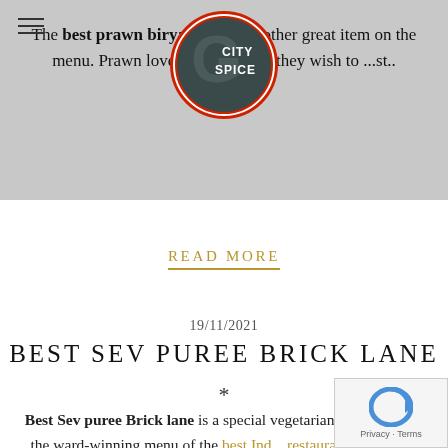[Figure (logo): City Spice restaurant logo — circular emblem with grey background, red outer ring, and 'CITY SPICE' text in centre]
The best prawn biryani h... is another great item on the menu. Prawn love... go wrong if they wish to ...st..
READ MORE
19/11/2021
BEST SEV PUREE BRICK LANE
*
Best Sev puree Brick lane is a special vegetarian ch... snack on the ward-winning menu of the best Ind... restaurant brick lane. Here,...